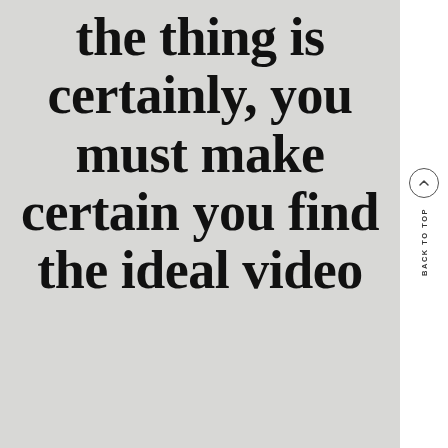the thing is certainly, you must make certain you find the ideal video
BACK TO TOP